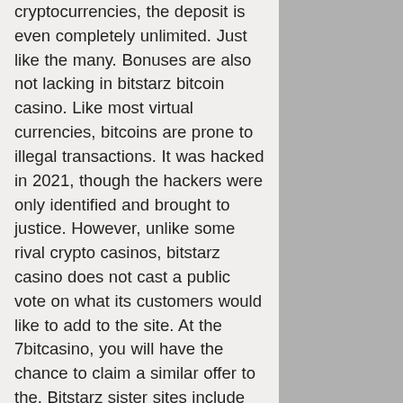cryptocurrencies, the deposit is even completely unlimited. Just like the many. Bonuses are also not lacking in bitstarz bitcoin casino. Like most virtual currencies, bitcoins are prone to illegal transactions. It was hacked in 2021, though the hackers were only identified and brought to justice. However, unlike some rival crypto casinos, bitstarz casino does not cast a public vote on what its customers would like to add to the site. At the 7bitcasino, you will have the chance to claim a similar offer to the. Bitstarz sister sites include anonymous casino, playamo, kingbilly casino, play 24 bet, joo casino, guns bet, bao casino, katsubet casino, jet spin and more Best overall crypto betting site - bitstarz; best for casino games. You can retailer completely different cryptocurrencies in these wallets like crypto earned from litecoin faucet, ethereum faucet, doge faucet, and so on,. Your search yielded no results. General information; policies and